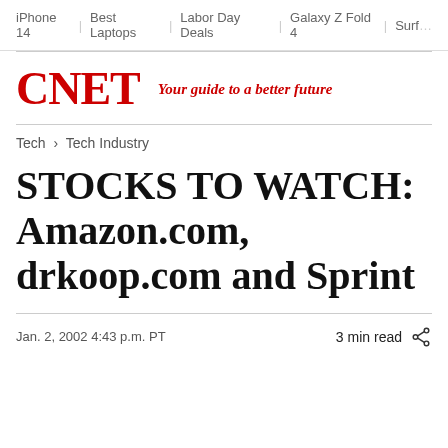iPhone 14  |  Best Laptops  |  Labor Day Deals  |  Galaxy Z Fold 4  |  Surf
[Figure (logo): CNET logo in red with tagline 'Your guide to a better future']
Tech > Tech Industry
STOCKS TO WATCH: Amazon.com, drkoop.com and Sprint
Jan. 2, 2002 4:43 p.m. PT    3 min read